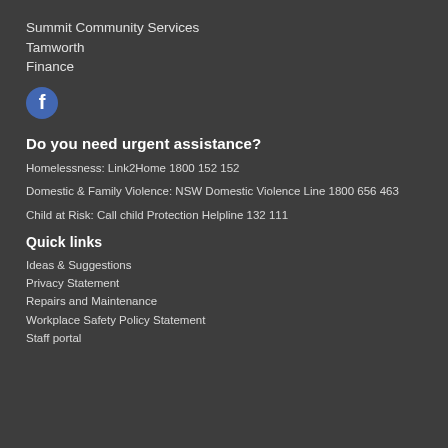Summit Community Services
Tamworth
Finance
[Figure (logo): Facebook icon — circular blue background with white 'f' logo]
Do you need urgent assistance?
Homelessness: Link2Home 1800 152 152
Domestic & Family Violence: NSW Domestic Violence Line 1800 656 463
Child at Risk: Call child Protection Helpline 132 111
Quick links
Ideas & Suggestions
Privacy Statement
Repairs and Maintenance
Workplace Safety Policy Statement
Staff portal